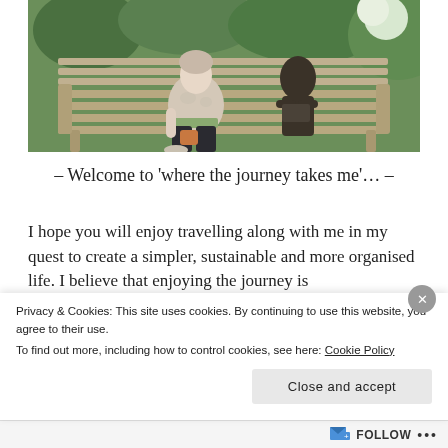[Figure (photo): A woman sitting on a wooden garden bench next to a dark bronze statue of a seated figure. Lush green garden background with shrubs and flowers.]
– Welcome to 'where the journey takes me'… –
I hope you will enjoy travelling along with me in my quest to create a simpler, sustainable and more organised life. I believe that enjoying the journey is
Privacy & Cookies: This site uses cookies. By continuing to use this website, you agree to their use.
To find out more, including how to control cookies, see here: Cookie Policy
Close and accept
FOLLOW ···